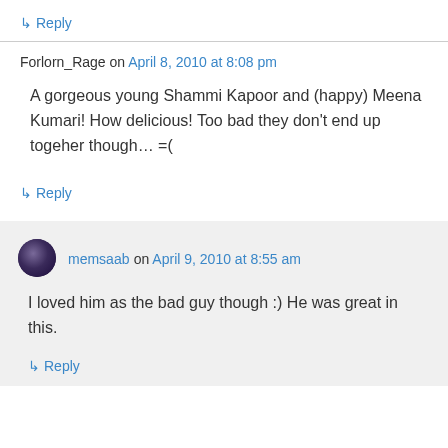↳ Reply
Forlorn_Rage on April 8, 2010 at 8:08 pm
A gorgeous young Shammi Kapoor and (happy) Meena Kumari! How delicious! Too bad they don't end up togeher though… =(
↳ Reply
memsaab on April 9, 2010 at 8:55 am
I loved him as the bad guy though :) He was great in this.
↳ Reply